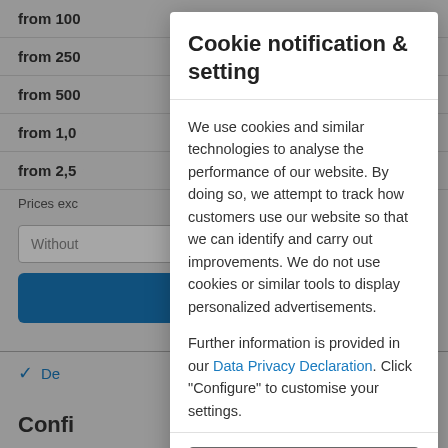from 100 ... €10.28
from 250 ... €10.09
from 500 ... €9.54
from 1,00 ... €9.08
from 2,50 ... Request offer
Prices exc...
Cookie notification & setting
We use cookies and similar technologies to analyse the performance of our website. By doing so, we attempt to track how customers use our website so that we can identify and carry out improvements. We do not use cookies or similar tools to display personalized advertisements.
Further information is provided in our Data Privacy Declaration. Click "Configure" to customise your settings.
Accept all cookies
Config...